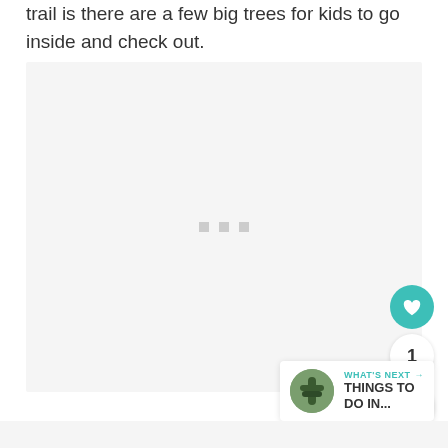trail is there are a few big trees for kids to go inside and check out.
[Figure (photo): Large light gray placeholder image for a photo of trees on a trail, with three gray dots (carousel indicators) centered near the bottom of the image.]
1
WHAT'S NEXT → THINGS TO DO IN...